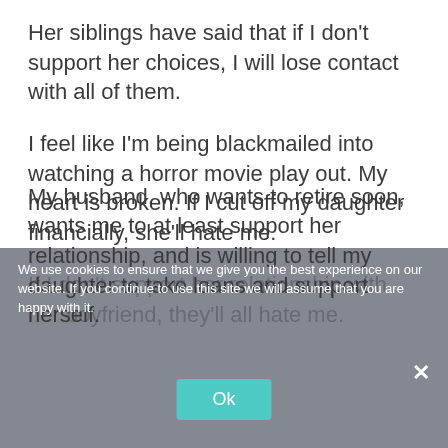Her siblings have said that if I don't support her choices, I will lose contact with all of them.
I feel like I'm being blackmailed into watching a horror movie play out. My heart is broken. If I cut off my daughter financially, she'll hate me.
If I don't support her relationship with her boyfriend, they'll all hate me.
My husband, who wants to retire soon, wants me to at least support her relationship, and is willing to tell my daughter to take loans and support herself.
We use cookies to ensure that we give you the best experience on our website. If you continue to use this site we will assume that you are happy with it.